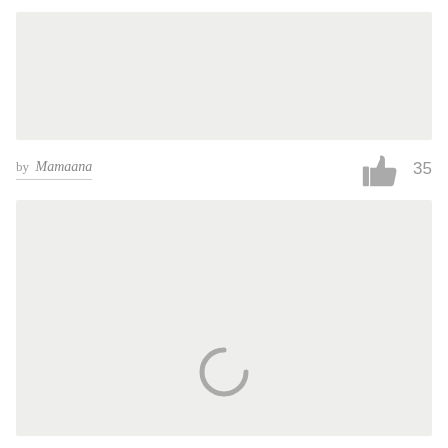[Figure (other): Gray placeholder image block at top of page]
by Mamaana
35
[Figure (other): Gray placeholder image block at bottom of page with a loading spinner (C shape) in the center-bottom area]